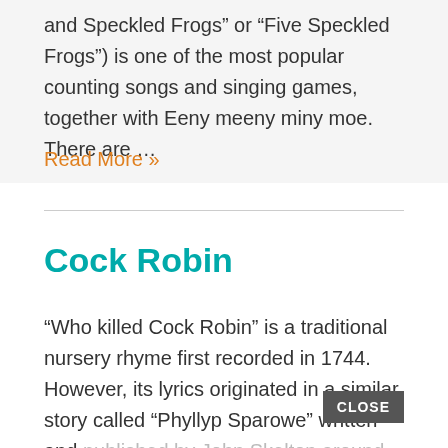and Speckled Frogs" or "Five Speckled Frogs") is one of the most popular counting songs and singing games, together with Eeny meeny miny moe. There are …
Read More »
Cock Robin
"Who killed Cock Robin" is a traditional nursery rhyme first recorded in 1744. However, its lyrics originated in a similar story called "Phyllyp Sparowe" written and published by John Skelton around the early 1500s.
"Who …